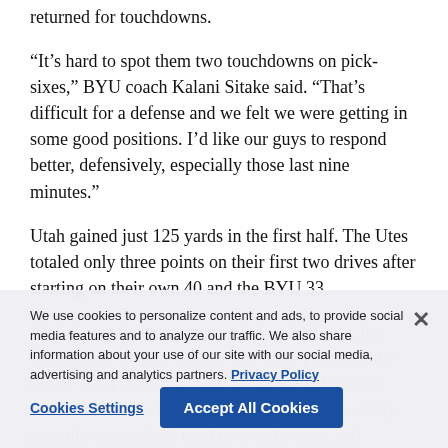returned for touchdowns.
“It’s hard to spot them two touchdowns on pick-sixes,” BYU coach Kalani Sitake said. “That’s difficult for a defense and we felt we were getting in some good positions. I’d like our guys to respond better, defensively, especially those last nine minutes.”
Utah gained just 125 yards in the first half. The Utes totaled only three points on their first two drives after starting on their own 40 and the BYU 33.
With their offense sputtering before halftime, the Utes turned to their defense get some points on the board. Utah took a 9-2 lead in the second quarter when Francis Bernard stepped in front of a wobbly pass the quarterback tried to avoid a sack, and returned it 58 yards, untouched, for a score.
“We just shot ourselves in the foot pretty much every drive in the first half,” tight end Matt Bushman said.
We use cookies to personalize content and ads, to provide social media features and to analyze our traffic. We also share information about your use of our site with our social media, advertising and analytics partners. Privacy Policy